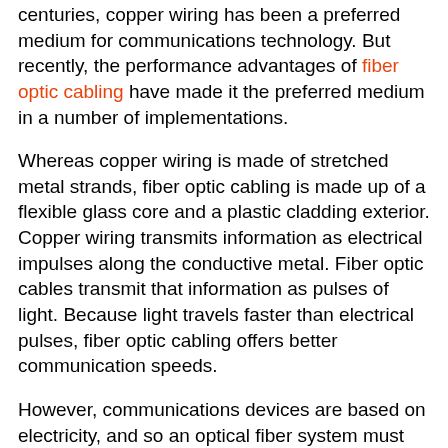centuries, copper wiring has been a preferred medium for communications technology. But recently, the performance advantages of fiber optic cabling have made it the preferred medium in a number of implementations.
Whereas copper wiring is made of stretched metal strands, fiber optic cabling is made up of a flexible glass core and a plastic cladding exterior. Copper wiring transmits information as electrical impulses along the conductive metal. Fiber optic cables transmit that information as pulses of light. Because light travels faster than electrical pulses, fiber optic cabling offers better communication speeds.
However, communications devices are based on electricity, and so an optical fiber system must have ways of converting electricity into a light signal at one end and converting light back into electrical information at the other end.
It's easy to envision a point in the near future when all cabling is fiber optic, but until then, there are